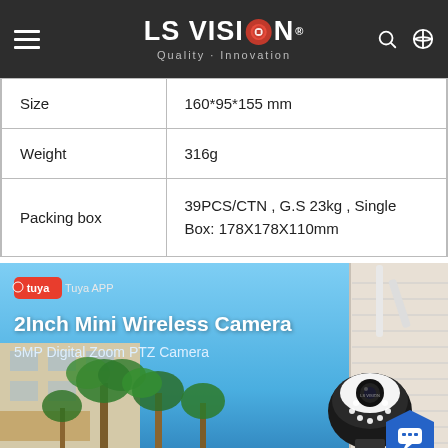LS VISION Quality · Innovation
| Size | 160*95*155 mm |
| Weight | 316g |
| Packing box | 39PCS/CTN , G.S 23kg , Single Box: 178X178X110mm |
[Figure (photo): Product promotional banner for LS Vision 2Inch Mini Wireless Camera, 5MP Digital Zoom PTZ Camera. Shows camera mounted on wall with palm trees and building in background. Tuya APP logo badge in top left. Chat bubble icon bottom right.]